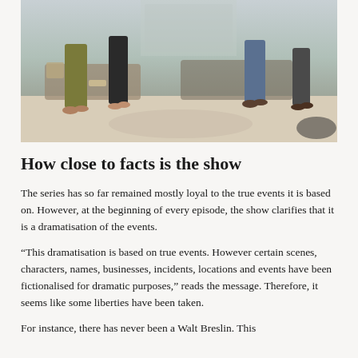[Figure (photo): Group of people seated on couches/chairs in a lounge or living room setting, photographed from the waist down showing various outfits and footwear]
How close to facts is the show
The series has so far remained mostly loyal to the true events it is based on. However, at the beginning of every episode, the show clarifies that it is a dramatisation of the events.
“This dramatisation is based on true events. However certain scenes, characters, names, businesses, incidents, locations and events have been fictionalised for dramatic purposes,” reads the message. Therefore, it seems like some liberties have been taken.
For instance, there has never been a Walt Breslin. This